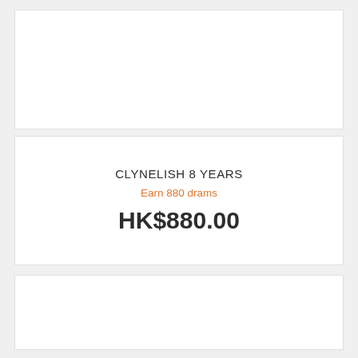[Figure (other): Empty white card panel at top of page]
CLYNELISH 8 YEARS
Earn 880 drams
HK$880.00
[Figure (other): Empty white card panel at bottom of page]